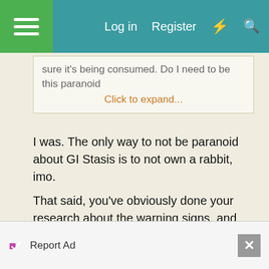Log in  Register
sure it's being consumed. Do I need to be this paranoid
Click to expand...
I was. The only way to not be paranoid about GI Stasis is to not own a rabbit, imo.
That said, you've obviously done your research about the warning signs, and the only way you'll be less paranoid is by getting to know your rabbit. You'll learn her habits, moods, attitudes, etc, and you'll be able to for a "normal" for your bun. "Normal" isn't a term I use much anymore after having rabbits. Every individual is an individual, god bless 'em! They hold grudges, have mood swings, and have full-blown personalities.
Report Ad